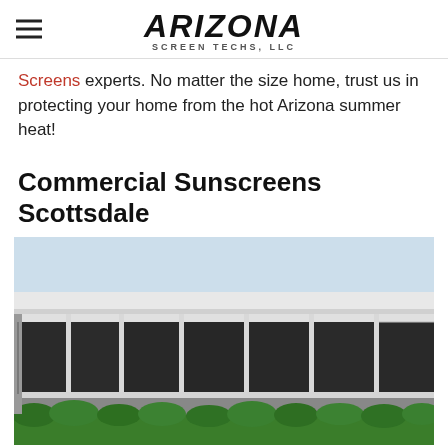Arizona Screen Techs, LLC
Screens experts. No matter the size home, trust us in protecting your home from the hot Arizona summer heat!
Commercial Sunscreens Scottsdale
[Figure (photo): Commercial building with large dark sunscreens/sun shades installed across multiple window panels along the facade, with green hedges visible at the bottom.]